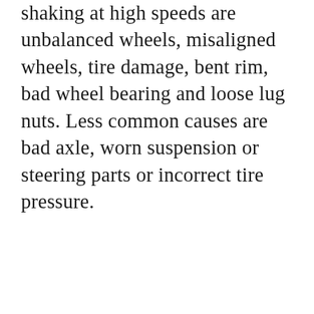shaking at high speeds are unbalanced wheels, misaligned wheels, tire damage, bent rim, bad wheel bearing and loose lug nuts. Less common causes are bad axle, worn suspension or steering parts or incorrect tire pressure.